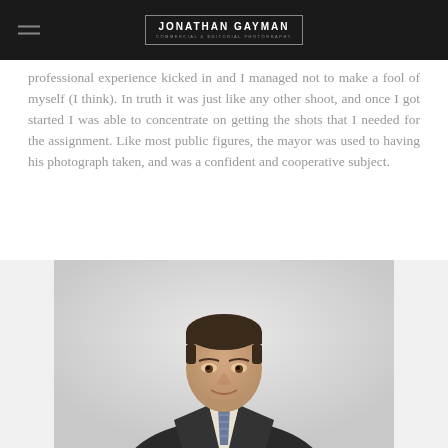JONATHAN GAYMAN — COMMERCIAL & EDITORIAL PHOTOGRAPHY
professional experience kicked in and I managed not to make a fool of myself (I think). In truth it was just like any other shoot, and once I got started I was able to concentrate on getting the shots that I needed for the assignment. Like most public figures, the mayor was used to having his photograph taken, and was a confident and cooperative subject.
[Figure (photo): Portrait photograph of a man in a dark suit and striped tie, smiling slightly, photographed against a light background with professional studio lighting.]